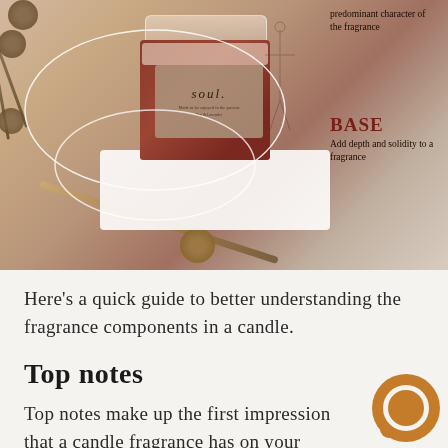[Figure (photo): An annotated lifestyle photo showing a terracotta-colored 'soul.' branded candle jar on a white textured surface, surrounded by dried botanical brushes, with white oval annotation lines and text labels indicating 'BASE' and description of fragrance notes on the right side]
Here's a quick guide to better understanding the fragrance components in a candle.
Top notes
Top notes make up the first impression that a candle fragrance has on your olfactory senses. They're also called head notes because they're like the "headline" when you read a